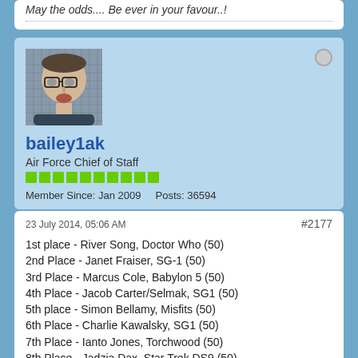May the odds.... Be ever in your favour..!
[Figure (photo): Avatar photo of a man with glasses looking intensely at the camera, close-up shot]
bailey1ak
Air Force Chief of Staff
Member Since: Jan 2009    Posts: 36594
23 July 2014, 05:06 AM
#2177
1st place - River Song, Doctor Who (50)
2nd Place - Janet Fraiser, SG-1 (50)
3rd Place - Marcus Cole, Babylon 5 (50)
4th Place - Jacob Carter/Selmak, SG1 (50)
5th place - Simon Bellamy, Misfits (50)
6th Place - Charlie Kawalsky, SG1 (50)
7th Place - Ianto Jones, Torchwood (50)
8th Place - Jadzia Dax, Star Trek DS9 (50)